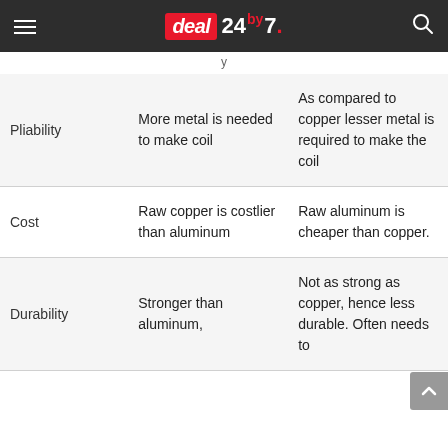deal 24by7
|  | Copper | Aluminum |
| --- | --- | --- |
| Pliability | More metal is needed to make coil | As compared to copper lesser metal is required to make the coil |
| Cost | Raw copper is costlier than aluminum | Raw aluminum is cheaper than copper. |
| Durability | Stronger than aluminum, | Not as strong as copper, hence less durable. Often needs to |